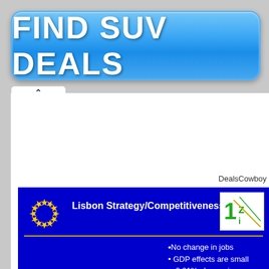[Figure (screenshot): Blue button with white bold text reading FIND SUV DEALS]
>> Find Suv Deals
DealsCowboy
[Figure (screenshot): Blue banner with EU star circle logo, Lisbon Strategy/Competitiveness title, a logo box, a gold separator line, and bullet points: No change in jobs, GDP effects are small, -0.01% change in]
No change in jobs
GDP effects are small
-0.01% change in